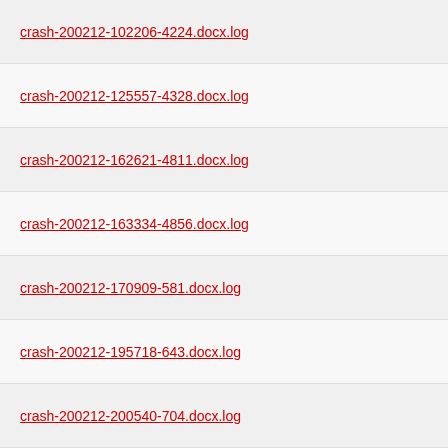crash-200212-102206-4224.docx.log
crash-200212-125557-4328.docx.log
crash-200212-162621-4811.docx.log
crash-200212-163334-4856.docx.log
crash-200212-170909-581.docx.log
crash-200212-195718-643.docx.log
crash-200212-200540-704.docx.log